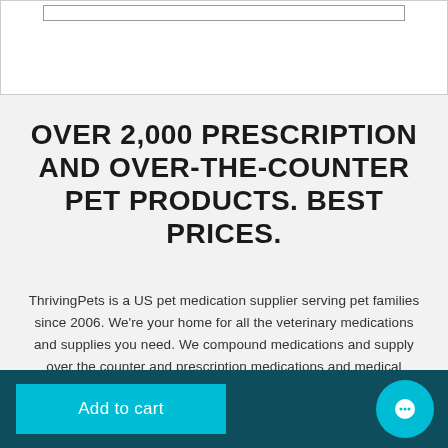[Figure (screenshot): White box area at top with a thin bordered inner rectangle, representing a UI input or search box element.]
OVER 2,000 PRESCRIPTION AND OVER-THE-COUNTER PET PRODUCTS. BEST PRICES.
ThrivingPets is a US pet medication supplier serving pet families since 2006. We're your home for all the veterinary medications and supplies you need. We compound medications and supply over the counter and prescription medications and medical supplies straight to your home. We have everything your pet needs at amazing prices, every day. And with AutoShip & Save, we
[Figure (illustration): Teal 'Add to cart' button on dark teal bottom bar, with a circular teal chat bubble icon on the right.]